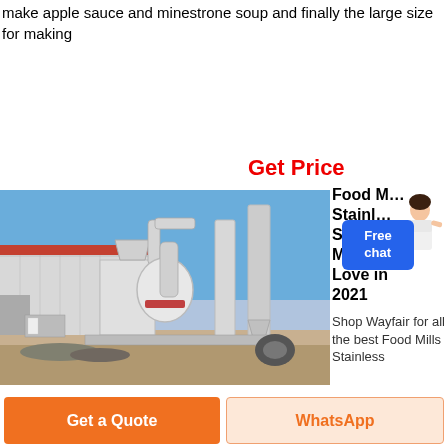make apple sauce and minestrone soup and finally the large size for making
Get Price
[Figure (photo): Industrial food mill / grinding machine equipment outdoors next to a warehouse building]
Food Mills Stainless Steel Food Mills You'll Love in 2021
Shop Wayfair for all the best Food Mills Stainless
Free chat
Get a Quote
WhatsApp